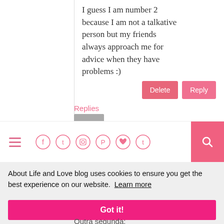I guess I am number 2 because I am not a talkative person but my friends always approach me for advice when they have problems :)
Delete
Reply
Replies
[Figure (screenshot): Blog navigation bar with hamburger menu, social media icons (Facebook, Twitter, Instagram, Pinterest, heart/Bloglovin, Tumblr) outlined in pink, and a pink search button on the right]
About Life and Love blog uses cookies to ensure you get the best experience on our website. Learn more
Got it!
Outra segunda: